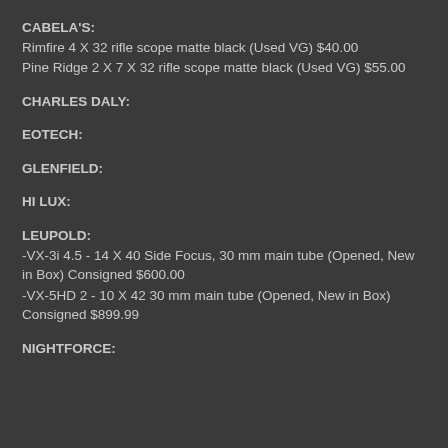CABELA'S:
Rimfire 4 X 32 rifle scope matte black (Used VG) $40.00
Pine Ridge 2 X 7 X 32 rifle scope matte black (Used VG) $55.00
CHARLES DALY:
EOTECH:
GLENFIELD:
HI LUX:
LEUPOLD:
-VX-3i 4.5 - 14 X 40 Side Focus, 30 mm main tube (Opened, New in Box) Consigned $600.00
-VX-5HD  2 - 10 X 42 30 mm main tube (Opened, New in Box) Consigned $899.99
NIGHTFORCE: